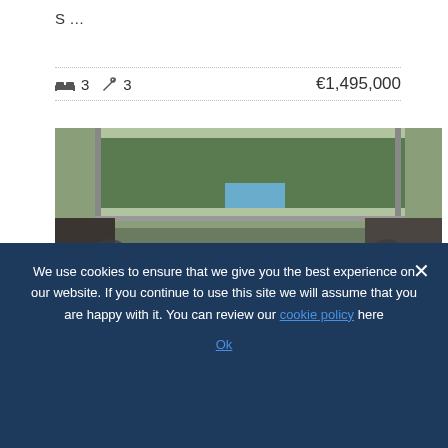S …
🛏 3  🚿 3   €1,495,000
[Figure (photo): Interior photo of a modern living room with leather sofas and large windows overlooking a pool and trees. Navigation arrows on left and right.]
Sierra Blanca Townhouse
We use cookies to ensure that we give you the best experience on our website. If you continue to use this site we will assume that you are happy with it. You can review our cookie policy here
Ok